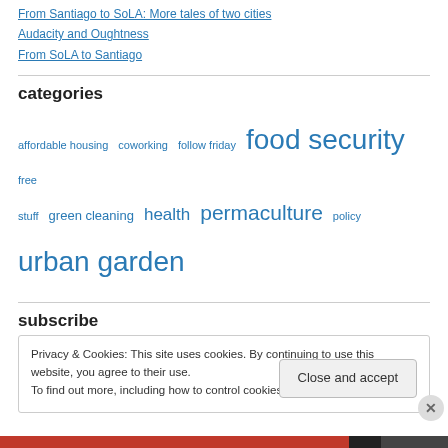From Santiago to SoLA: More tales of two cities
Audacity and Oughtness
From SoLA to Santiago
categories
affordable housing coworking follow friday food security free stuff green cleaning health permaculture policy urban garden
subscribe
Privacy & Cookies: This site uses cookies. By continuing to use this website, you agree to their use. To find out more, including how to control cookies, see here: Cookie Policy